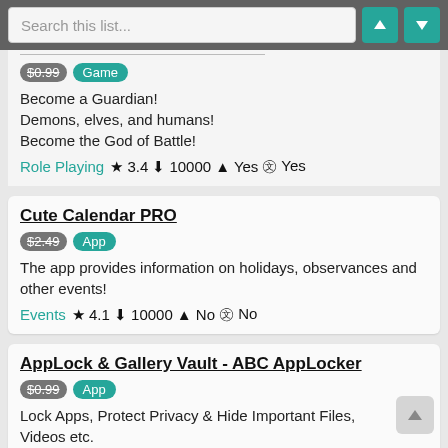Search this list...
$0.99 | Game | Become a Guardian! Demons, elves, and humans! Become the God of Battle! | Role Playing ★ 3.4 ↓ 10000 ● Yes 🛒 Yes
Cute Calendar PRO | $2.49 | App | The app provides information on holidays, observances and other events! | Events ★ 4.1 ↓ 10000 ● No 🛒 No
AppLock & Gallery Vault - ABC AppLocker | $0.99 | App | Lock Apps, Protect Privacy & Hide Important Files, Videos etc.